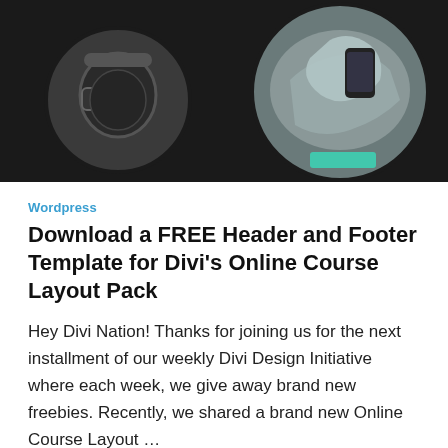[Figure (screenshot): Dark-themed Divi website mockup showing circular photo of headphones on left, larger circular photo of person holding phone on right, with lorem ipsum placeholder text in the center]
Wordpress
Download a FREE Header and Footer Template for Divi's Online Course Layout Pack
Hey Divi Nation! Thanks for joining us for the next installment of our weekly Divi Design Initiative where each week, we give away brand new freebies. Recently, we shared a brand new Online Course Layout …
By WordPress Guru on June 19, 2022